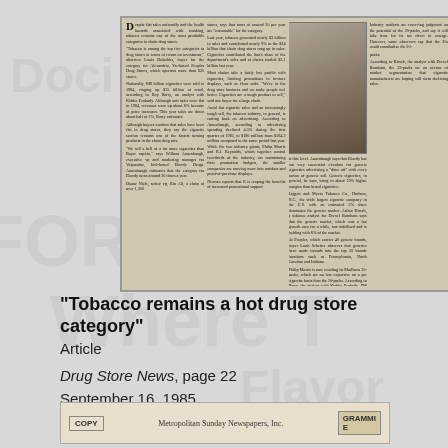[Figure (photo): Scanned newspaper article with photograph of a drug store tobacco display rack with a person standing next to it. Multiple columns of text about tobacco sales in drug stores.]
“Tobacco remains a hot drug store category”
Article
Drug Store News, page 22
September 16, 1985
[Figure (photo): Bottom clipping stub showing: COPY | Metropolitan Sunday Newspapers, Inc. | GRAMMIE]